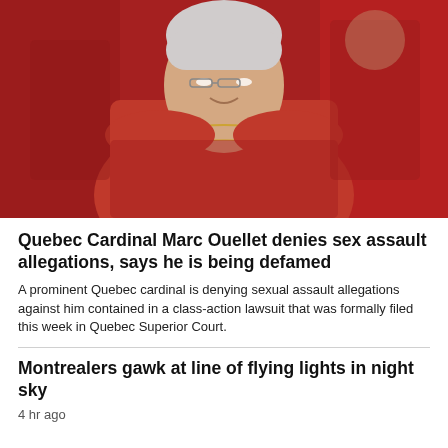[Figure (photo): An elderly white-haired man wearing red cardinal vestments with gold embroidery smiles slightly, surrounded by other figures in red robes in the background.]
Quebec Cardinal Marc Ouellet denies sex assault allegations, says he is being defamed
A prominent Quebec cardinal is denying sexual assault allegations against him contained in a class-action lawsuit that was formally filed this week in Quebec Superior Court.
Montrealers gawk at line of flying lights in night sky
4 hr ago